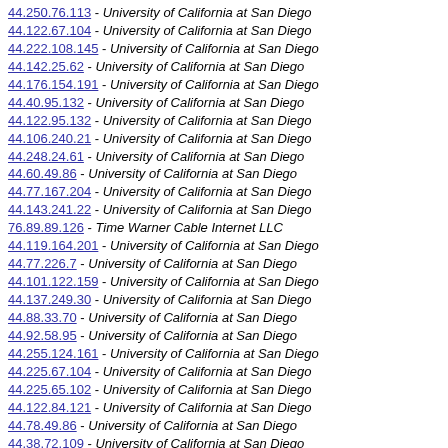44.250.76.113 - University of California at San Diego
44.122.67.104 - University of California at San Diego
44.222.108.145 - University of California at San Diego
44.142.25.62 - University of California at San Diego
44.176.154.191 - University of California at San Diego
44.40.95.132 - University of California at San Diego
44.122.95.132 - University of California at San Diego
44.106.240.21 - University of California at San Diego
44.248.24.61 - University of California at San Diego
44.60.49.86 - University of California at San Diego
44.77.167.204 - University of California at San Diego
44.143.241.22 - University of California at San Diego
76.89.89.126 - Time Warner Cable Internet LLC
44.119.164.201 - University of California at San Diego
44.77.226.7 - University of California at San Diego
44.101.122.159 - University of California at San Diego
44.137.249.30 - University of California at San Diego
44.88.33.70 - University of California at San Diego
44.92.58.95 - University of California at San Diego
44.255.124.161 - University of California at San Diego
44.225.67.104 - University of California at San Diego
44.225.65.102 - University of California at San Diego
44.122.84.121 - University of California at San Diego
44.78.49.86 - University of California at San Diego
44.38.72.109 - University of California at San Diego
44.207.103.140 - University of California at San Diego
44.122.82.119 - University of California at San Diego
44.58.35.72 - University of California at San Diego
44.101.205.242 - University of California at San Diego
44.227.158.195 - University of California at San Diego